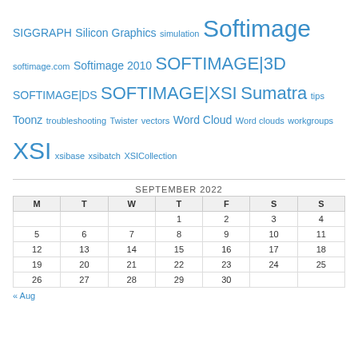SIGGRAPH Silicon Graphics simulation Softimage softimage.com Softimage 2010 SOFTIMAGE|3D SOFTIMAGE|DS SOFTIMAGE|XSI Sumatra tips Toonz troubleshooting Twister vectors Word Cloud Word clouds workgroups XSI xsibase xsibatch XSICollection
| M | T | W | T | F | S | S |
| --- | --- | --- | --- | --- | --- | --- |
|  |  |  | 1 | 2 | 3 | 4 |
| 5 | 6 | 7 | 8 | 9 | 10 | 11 |
| 12 | 13 | 14 | 15 | 16 | 17 | 18 |
| 19 | 20 | 21 | 22 | 23 | 24 | 25 |
| 26 | 27 | 28 | 29 | 30 |  |  |
« Aug